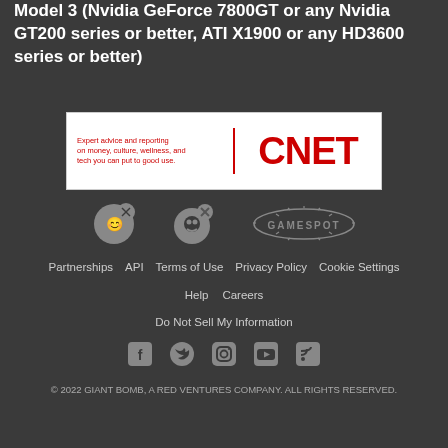Model 3 (Nvidia GeForce 7800GT or any Nvidia GT200 series or better, ATI X1900 or any HD3600 series or better)
[Figure (logo): CNET advertisement banner with red text on white background: 'Expert advice and reporting on money, culture, wellness, and tech you can put to good use.' with large red CNET logo]
[Figure (logo): Giant Bomb and GameSpot logos side by side in grey]
Partnerships  API  Terms of Use  Privacy Policy  Cookie Settings  Help  Careers  Do Not Sell My Information
Social media icons: Facebook, Twitter, Instagram, YouTube, RSS
© 2022 GIANT BOMB, A RED VENTURES COMPANY. ALL RIGHTS RESERVED.